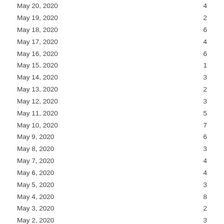| Date | Count |
| --- | --- |
| May 20, 2020 | 4 |
| May 19, 2020 | 2 |
| May 18, 2020 | 6 |
| May 17, 2020 | 4 |
| May 16, 2020 | 6 |
| May 15, 2020 | 1 |
| May 14, 2020 | 3 |
| May 13, 2020 | 2 |
| May 12, 2020 | 3 |
| May 11, 2020 | 5 |
| May 10, 2020 | 7 |
| May 9, 2020 | 6 |
| May 8, 2020 | 3 |
| May 7, 2020 | 4 |
| May 6, 2020 | 4 |
| May 5, 2020 | 3 |
| May 4, 2020 | 8 |
| May 3, 2020 | 2 |
| May 2, 2020 | 3 |
| May 1, 2020 | 4 |
| April 30, 2020 | 4 |
| April 29, 2020 | 2 |
| April 28, 2020 | 6 |
| April 27, 2020 | 4 |